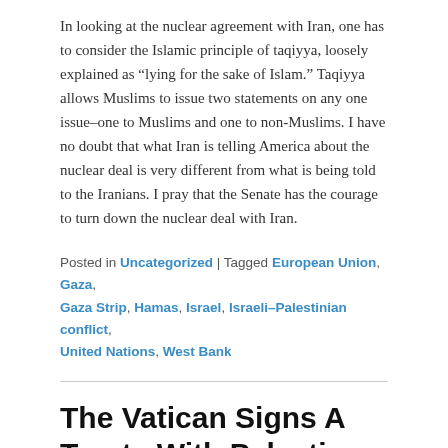In looking at the nuclear agreement with Iran, one has to consider the Islamic principle of taqiyya, loosely explained as “lying for the sake of Islam.” Taqiyya allows Muslims to issue two statements on any one issue–one to Muslims and one to non-Muslims. I have no doubt that what Iran is telling America about the nuclear deal is very different from what is being told to the Iranians. I pray that the Senate has the courage to turn down the nuclear deal with Iran.
Posted in Uncategorized | Tagged European Union, Gaza, Gaza Strip, Hamas, Israel, Israeli–Palestinian conflict, United Nations, West Bank
The Vatican Signs A Treaty With Palestine
Posted on June 27, 2015 by granny g